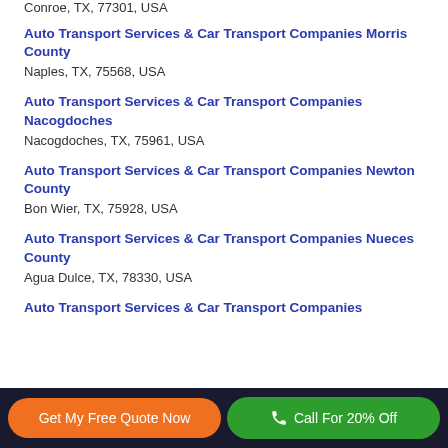Conroe, TX, 77301, USA
Auto Transport Services & Car Transport Companies Morris County
Naples, TX, 75568, USA
Auto Transport Services & Car Transport Companies Nacogdoches
Nacogdoches, TX, 75961, USA
Auto Transport Services & Car Transport Companies Newton County
Bon Wier, TX, 75928, USA
Auto Transport Services & Car Transport Companies Nueces County
Agua Dulce, TX, 78330, USA
Auto Transport Services & Car Transport Companies
Get My Free Quote Now | Call For 20% Off